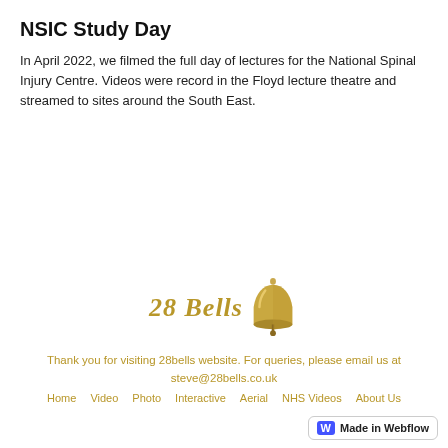NSIC Study Day
In April 2022, we filmed the full day of lectures for the National Spinal Injury Centre. Videos were record in the Floyd lecture theatre and streamed to sites around the South East.
[Figure (logo): 28 Bells logo with stylized text and a brass bell illustration]
Thank you for visiting 28bells website. For queries, please email us at steve@28bells.co.uk
Home  Video  Photo  Interactive  Aerial  NHS Videos  About Us